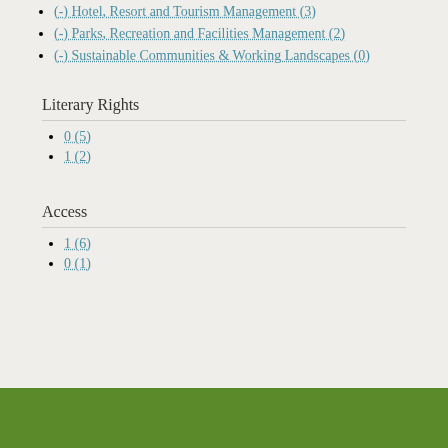(-) Hotel, Resort and Tourism Management (3)
(-) Parks, Recreation and Facilities Management (2)
(-) Sustainable Communities & Working Landscapes (0)
Literary Rights
0 (5)
1 (2)
Access
1 (6)
0 (1)